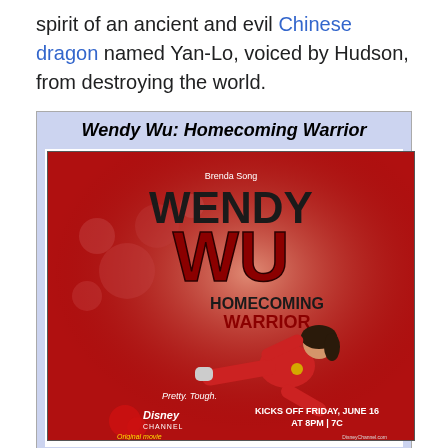spirit of an ancient and evil Chinese dragon named Yan-Lo, voiced by Hudson, from destroying the world.
Wendy Wu: Homecoming Warrior
[Figure (photo): Movie poster for Wendy Wu: Homecoming Warrior. Red background with Brenda Song in a red martial arts outfit performing a flying kick. Text reads: Brenda Song, WENDY WU, HOMECOMING WARRIOR, Pretty. Tough., Disney Channel Original Movie, KICKS OFF FRIDAY, JUNE 16 AT 8PM | 7C]